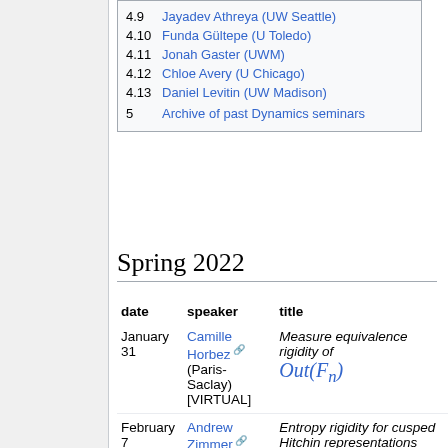4.10 Funda Gültepe (U Toledo)
4.11 Jonah Gaster (UWM)
4.12 Chloe Avery (U Chicago)
4.13 Daniel Levitin (UW Madison)
5 Archive of past Dynamics seminars
Spring 2022
| date | speaker | title |
| --- | --- | --- |
| January 31 | Camille Horbez (Paris-Saclay) [VIRTUAL] | Measure equivalence rigidity of Out(F_n) |
| February 7 | Andrew Zimmer (UW Madison) | Entropy rigidity for cusped Hitchin representations |